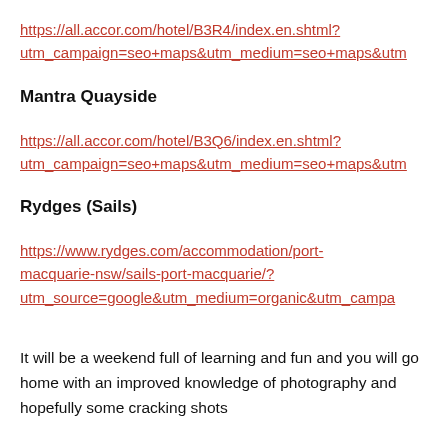https://all.accor.com/hotel/B3R4/index.en.shtml?utm_campaign=seo+maps&utm_medium=seo+maps&utm_source=...
Mantra Quayside
https://all.accor.com/hotel/B3Q6/index.en.shtml?utm_campaign=seo+maps&utm_medium=seo+maps&utm_source=...
Rydges (Sails)
https://www.rydges.com/accommodation/port-macquarie-nsw/sails-port-macquarie/?utm_source=google&utm_medium=organic&utm_campa...
It will be a weekend full of learning and fun and you will go home with an improved knowledge of photography and hopefully some cracking shots